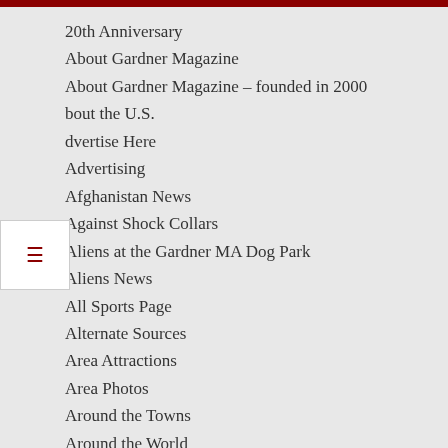20th Anniversary
About Gardner Magazine
About Gardner Magazine – founded in 2000
About the U.S.
Advertise Here
Advertising
Afghanistan News
Against Shock Collars
Aliens at the Gardner MA Dog Park
Aliens News
All Sports Page
Alternate Sources
Area Attractions
Area Photos
Around the Towns
Around the World
Arts News
Ashburnham MA